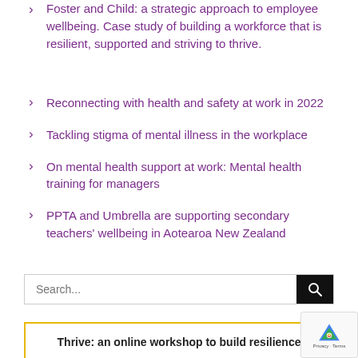Foster and Child: a strategic approach to employee wellbeing. Case study of building a workforce that is resilient, supported and striving to thrive.
Reconnecting with health and safety at work in 2022
Tackling stigma of mental illness in the workplace
On mental health support at work: Mental health training for managers
PPTA and Umbrella are supporting secondary teachers' wellbeing in Aotearoa New Zealand
Thrive: an online workshop to build resilience